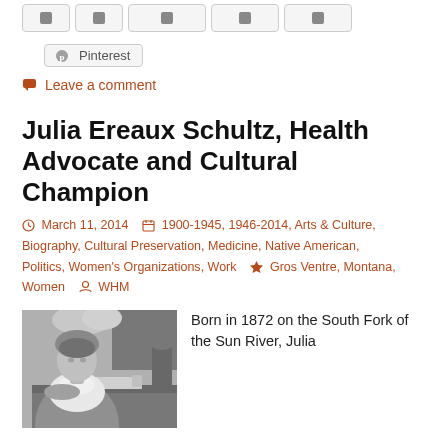[Figure (screenshot): Social media sharing buttons row (partially visible at top of page)]
[Figure (screenshot): Pinterest sharing button]
Leave a comment
Julia Ereaux Schultz, Health Advocate and Cultural Champion
March 11, 2014    1900-1945, 1946-2014, Arts & Culture, Biography, Cultural Preservation, Medicine, Native American, Politics, Women's Organizations, Work    Gros Ventre, Montana, Women    WHM
[Figure (photo): Black and white photograph of a woman seated, wearing a white lace or patterned top, with flowers and a desk visible in the background]
Born in 1872 on the South Fork of the Sun River, Julia